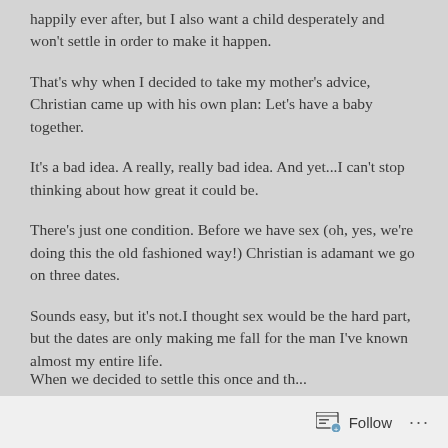happily ever after, but I also want a child desperately and won't settle in order to make it happen.
That's why when I decided to take my mother's advice, Christian came up with his own plan: Let's have a baby together.
It's a bad idea. A really, really bad idea. And yet...I can't stop thinking about how great it could be.
There's just one condition. Before we have sex (oh, yes, we're doing this the old fashioned way!) Christian is adamant we go on three dates.
Sounds easy, but it's not.I thought sex would be the hard part, but the dates are only making me fall for the man I've known almost my entire life.
When we decided to settle this once and this once and...
Follow ...